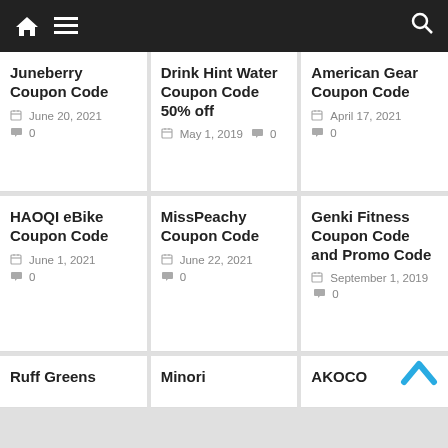Navigation bar with home icon, menu icon, search icon
Juneberry Coupon Code
June 20, 2021  0
Drink Hint Water Coupon Code 50% off
May 1, 2019  0
American Gear Coupon Code
April 17, 2021  0
HAOQI eBike Coupon Code
June 1, 2021  0
MissPeachy Coupon Code
June 22, 2021  0
Genki Fitness Coupon Code and Promo Code
September 1, 2019  0
Ruff Greens
Minori
AKOCO